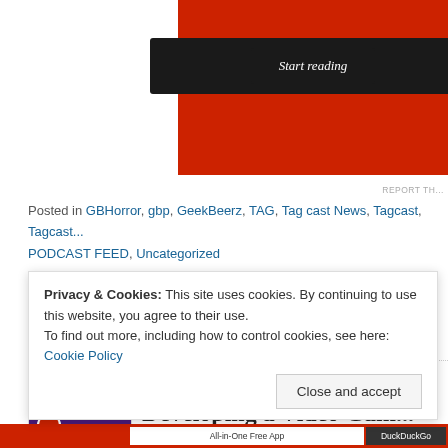[Figure (screenshot): Red banner with dark 'Start reading' button]
REPORT TH...
Posted in GBHorror, gbp, GeekBeerz, TAG, Tag cast News, Tagcast, Tagcast... PODCAST FEED, Uncategorized
Tags: beer, beers, beerz, episode, episodes, geek, Geek Beerz, Geek Berz, geekbeer, geekbeerz, news, Podcast, Shambles and Rambles, TAG, Tagcas...
[Figure (screenshot): Shambles and Rambles next post thumbnail - Developing a Video Gam...]
Privacy & Cookies: This site uses cookies. By continuing to use this website, you agree to their use. To find out more, including how to control cookies, see here: Cookie Policy
Close and accept